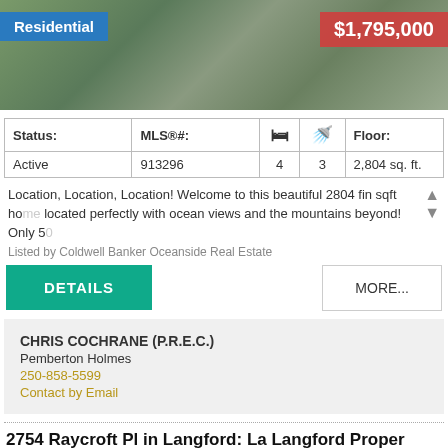[Figure (photo): Aerial/overhead view of a residential home with grey roof, surrounded by trees]
| Status: | MLS®#: | 🛏 | 🚿 | Floor: |
| --- | --- | --- | --- | --- |
| Active | 913296 | 4 | 3 | 2,804 sq. ft. |
Location, Location, Location! Welcome to this beautiful 2804 fin sqft home located perfectly with ocean views and the mountains beyond! Only 50
Listed by Coldwell Banker Oceanside Real Estate
DETAILS
MORE...
CHRIS COCHRANE (P.R.E.C.)
Pemberton Holmes
250-858-5599
Contact by Email
2754 Raycroft Pl in Langford: La Langford Proper House for sale : MLS®# 913298
[Figure (photo): Partial view of a listing photo with green trees and a NEW badge in the corner]